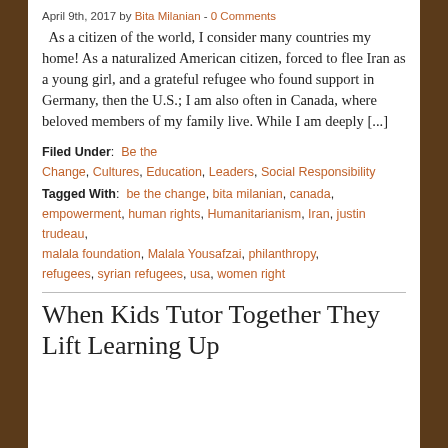April 9th, 2017 by Bita Milanian - 0 Comments
As a citizen of the world, I consider many countries my home! As a naturalized American citizen, forced to flee Iran as a young girl, and a grateful refugee who found support in Germany, then the U.S.; I am also often in Canada, where beloved members of my family live. While I am deeply [...]
Filed Under: Be the Change, Cultures, Education, Leaders, Social Responsibility
Tagged With: be the change, bita milanian, canada, empowerment, human rights, Humanitarianism, Iran, justin trudeau, malala foundation, Malala Yousafzai, philanthropy, refugees, syrian refugees, usa, women right
When Kids Tutor Together They Lift Learning Up